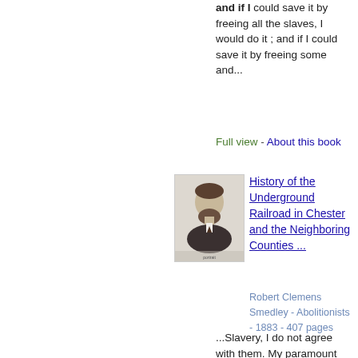and if I could save it by freeing all the slaves, I would do it ; and if I could save it by freeing some and...
Full view - About this book
[Figure (photo): Portrait illustration of a bearded man in 19th century attire, likely Robert Clemens Smedley]
History of the Underground Railroad in Chester and the Neighboring Counties ...
Robert Clemens Smedley - Abolitionists - 1883 - 407 pages
...Slavery, I do not agree with them. My paramount object in this struggle is to save the Union, and is